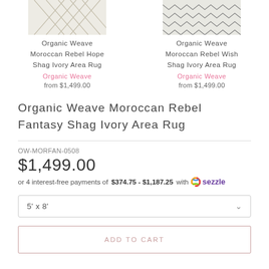[Figure (photo): Product thumbnail: Organic Weave Moroccan Rebel Hope Shag Ivory Area Rug]
Organic Weave Moroccan Rebel Hope Shag Ivory Area Rug
Organic Weave
from $1,499.00
[Figure (photo): Product thumbnail: Organic Weave Moroccan Rebel Wish Shag Ivory Area Rug]
Organic Weave Moroccan Rebel Wish Shag Ivory Area Rug
Organic Weave
from $1,499.00
Organic Weave Moroccan Rebel Fantasy Shag Ivory Area Rug
OW-MORFAN-0508
$1,499.00
or 4 interest-free payments of $374.75 - $1,187.25 with sezzle
5' x 8'
ADD TO CART